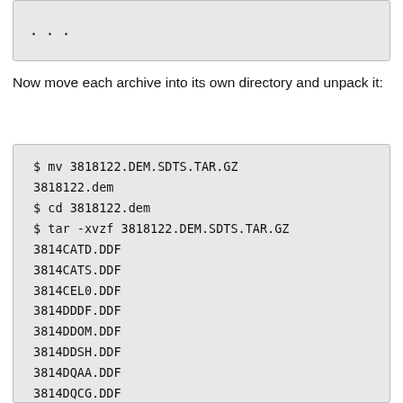...
Now move each archive into its own directory and unpack it:
$ mv 3818122.DEM.SDTS.TAR.GZ 3818122.dem
$ cd 3818122.dem
$ tar -xvzf 3818122.DEM.SDTS.TAR.GZ
3814CATD.DDF
3814CATS.DDF
3814CEL0.DDF
3814DDDF.DDF
3814DDOM.DDF
3814DDSH.DDF
3814DQAA.DDF
3814DQCG.DDF
3814DQHL.DDF
3814DQLC.DDF
3814DQPA.DDF
3814TREN.DDF